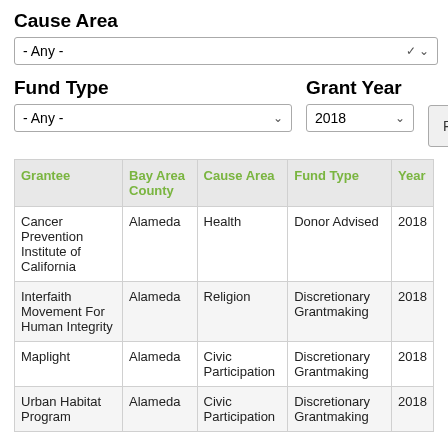Cause Area
- Any -
Fund Type
Grant Year
- Any -
2018
Reset
| Grantee | Bay Area County | Cause Area | Fund Type | Year |
| --- | --- | --- | --- | --- |
| Cancer Prevention Institute of California | Alameda | Health | Donor Advised | 2018 |
| Interfaith Movement For Human Integrity | Alameda | Religion | Discretionary Grantmaking | 2018 |
| Maplight | Alameda | Civic Participation | Discretionary Grantmaking | 2018 |
| Urban Habitat Program | Alameda | Civic Participation | Discretionary Grantmaking | 2018 |